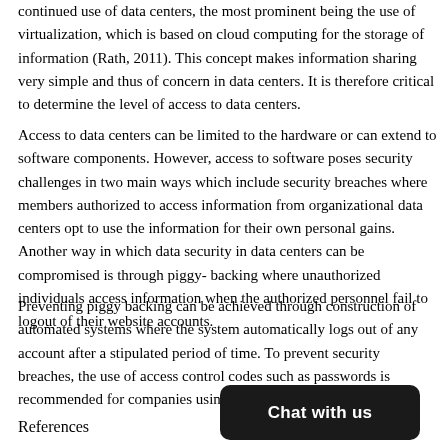continued use of data centers, the most prominent being the use of virtualization, which is based on cloud computing for the storage of information (Rath, 2011). This concept makes information sharing very simple and thus of concern in data centers. It is therefore critical to determine the level of access to data centers.
Access to data centers can be limited to the hardware or can extend to software components. However, access to software poses security challenges in two main ways which include security breaches where members authorized to access information from organizational data centers opt to use the information for their own personal gains. Another way in which data security in data centers can be compromised is through piggy- backing where unauthorized individuals access information when the authorized personnel fail to logout of their website accounts.
Preventing piggy backing can be achieved through construction of automated systems where the system automatically logs out of any account after a stipulated period of time. To prevent security breaches, the use of access control codes such as passwords is recommended for companies using data centers (Singleton, 2012).
References